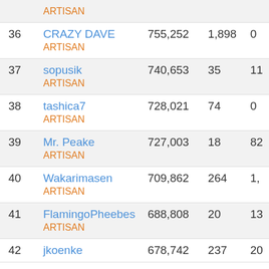| # | User | Score | Col3 | Col4 |
| --- | --- | --- | --- | --- |
|  | ARTISAN |  |  |  |
| 36 | CRAZY DAVE
ARTISAN | 755,252 | 1,898 | 0 |
| 37 | sopusik
ARTISAN | 740,653 | 35 | 11 |
| 38 | tashica7
ARTISAN | 728,021 | 74 | 0 |
| 39 | Mr. Peake
ARTISAN | 727,003 | 18 | 82 |
| 40 | Wakarimasen
ARTISAN | 709,862 | 264 | 1, |
| 41 | FlamingoPheebes
ARTISAN | 688,808 | 20 | 13 |
| 42 | jkoenke
ARTISAN | 678,742 | 237 | 20 |